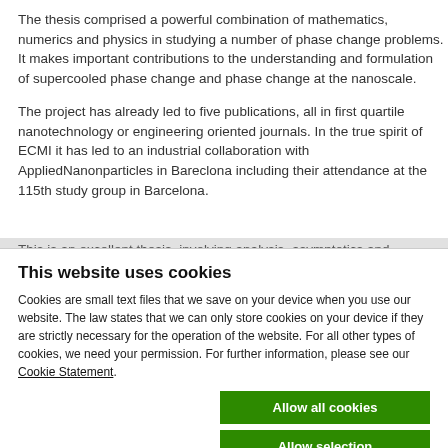The thesis comprised a powerful combination of mathematics, numerics and physics in studying a number of phase change problems. It makes important contributions to the understanding and formulation of supercooled phase change and phase change at the nanoscale.
The project has already led to five publications, all in first quartile nanotechnology or engineering oriented journals. In the true spirit of ECMI it has led to an industrial collaboration with AppliedNanonparticles in Bareclona including their attendance at the 115th study group in Barcelona.
This is an excellent thesis, involving analysis, asymptotics and
This website uses cookies
Cookies are small text files that we save on your device when you use our website. The law states that we can only store cookies on your device if they are strictly necessary for the operation of the website. For all other types of cookies, we need your permission. For further information, please see our Cookie Statement.
Allow all cookies
Allow selection
Use necessary cookies only